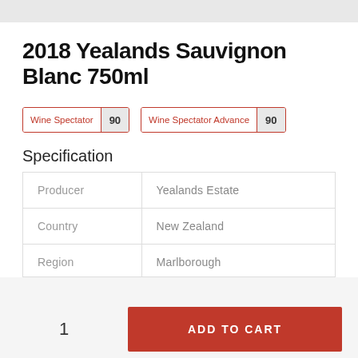2018 Yealands Sauvignon Blanc 750ml
Wine Spectator: 90 | Wine Spectator Advance: 90
Specification
| Producer | Yealands Estate |
| Country | New Zealand |
| Region | Marlborough |
1  ADD TO CART